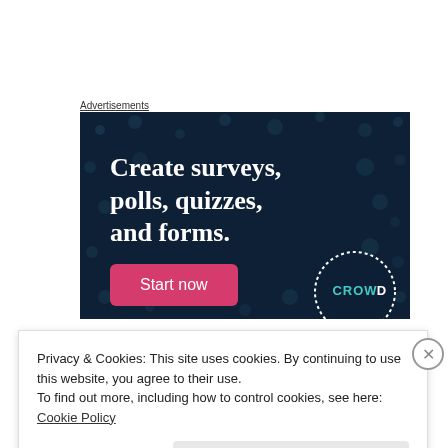Advertisements
[Figure (illustration): Dark navy blue advertisement banner with scattered dot/circle pattern. Large bold white serif text reads 'Create surveys, polls, quizzes, and forms.' with a pink/magenta 'Start now' button below. Bottom right has a circular dotted logo reading 'CROWD'.]
Privacy & Cookies: This site uses cookies. By continuing to use this website, you agree to their use.
To find out more, including how to control cookies, see here: Cookie Policy
Close and accept